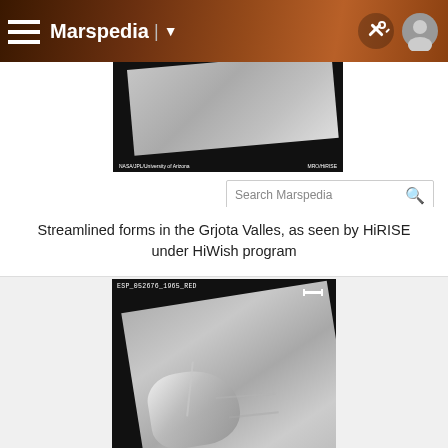Marspedia
[Figure (screenshot): Search bar for Marspedia wiki with text 'Search Marspedia' and a partial HiRISE satellite image of Mars in the background]
Streamlined forms in the Grjota Valles, as seen by HiRISE under HiWish program
[Figure (photo): HiRISE satellite image labeled ESP_052676_1965_RED showing streamlined landforms in Grjota Valles on Mars, grayscale image with dark background]